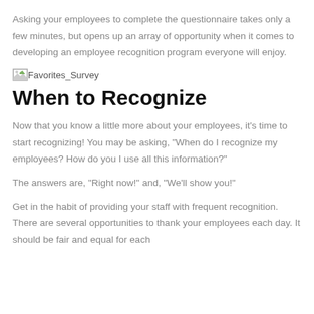Asking your employees to complete the questionnaire takes only a few minutes, but opens up an array of opportunity when it comes to developing an employee recognition program everyone will enjoy.
[Figure (other): Broken image placeholder labeled Favorites_Survey]
When to Recognize
Now that you know a little more about your employees, it’s time to start recognizing! You may be asking, “When do I recognize my employees? How do you I use all this information?”
The answers are, “Right now!” and, “We’ll show you!”
Get in the habit of providing your staff with frequent recognition. There are several opportunities to thank your employees each day. It should be fair and equal for each